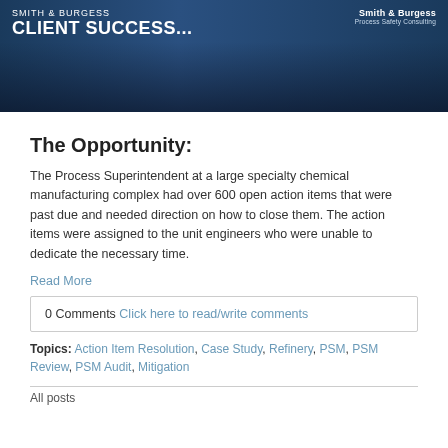[Figure (illustration): Smith & Burgess Client Success banner with dark blue background, city lights imagery, company name and logo]
The Opportunity:
The Process Superintendent at a large specialty chemical manufacturing complex had over 600 open action items that were past due and needed direction on how to close them. The action items were assigned to the unit engineers who were unable to dedicate the necessary time.
Read More
0 Comments Click here to read/write comments
Topics: Action Item Resolution, Case Study, Refinery, PSM, PSM Review, PSM Audit, Mitigation
All posts